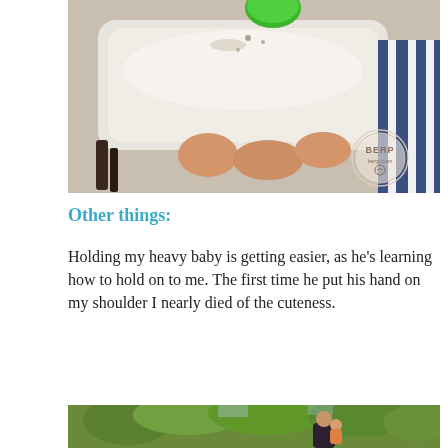[Figure (photo): Close-up photo of a baby in a high chair with a white tray. A green cup/spoon is visible at the top. The baby's chubby legs are visible under the tray. A watermark reads 'BERP berp.com' in the lower right.]
Other things:
Holding my heavy baby is getting easier, as he’s learning how to hold on to me. The first time he put his hand on my shoulder I nearly died of the cuteness.
[Figure (photo): Partial photo visible at the bottom showing an outdoor scene with green trees and what appears to be an adult holding a baby.]